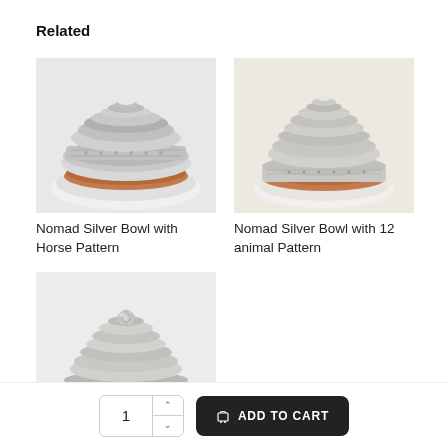Related
[Figure (photo): Silver decorative bowl with horse pattern, viewed from top, ornate silver metalwork on white background]
Nomad Silver Bowl with Horse Pattern
[Figure (photo): Silver decorative bowl with 12 animal pattern, viewed from top, ornate metalwork on white background]
Nomad Silver Bowl with 12 animal Pattern
[Figure (photo): Silver decorative bowl with Horol pattern, viewed from top, ornate silver metalwork on white background]
Nomad Silver Bowl with Horol Pattern
1
ADD TO CART